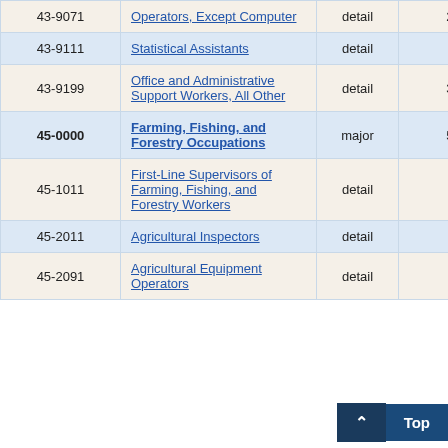| SOC Code | Occupation | Level | Employment | ... |
| --- | --- | --- | --- | --- |
| 43-9071 | Operators, Except Computer | detail | 220 | 3... |
| 43-9111 | Statistical Assistants | detail | 50 | 7... |
| 43-9199 | Office and Administrative Support Workers, All Other | detail | 300 | 13... |
| 45-0000 | Farming, Fishing, and Forestry Occupations | major | 520 | 24... |
| 45-1011 | First-Line Supervisors of Farming, Fishing, and Forestry Workers | detail | 30 | 19... |
| 45-2011 | Agricultural Inspectors | detail | (8) |  |
| 45-2091 | Agricultural Equipment Operators | detail | 7... |  |